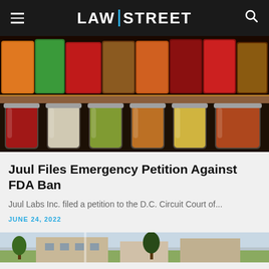LAW|STREET
[Figure (photo): Shelf of colorful canning jars filled with preserved foods including vegetables and fruits]
Juul Files Emergency Petition Against FDA Ban
Juul Labs Inc. filed a petition to the D.C. Circuit Court of...
JUNE 24, 2022
[Figure (photo): Partial photo of a building exterior, partially visible at bottom of page]